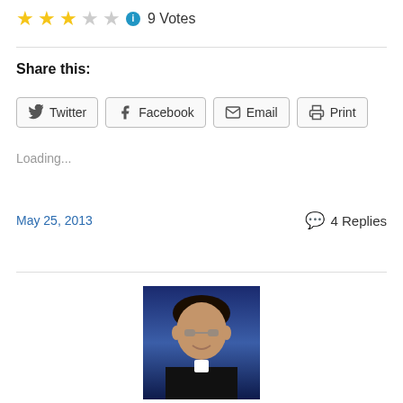★★★☆☆ ℹ 9 Votes
Share this:
Twitter  Facebook  Email  Print
Loading...
May 25, 2013
4 Replies
[Figure (photo): Portrait photo of a man in black clerical attire with glasses, against a blue background]